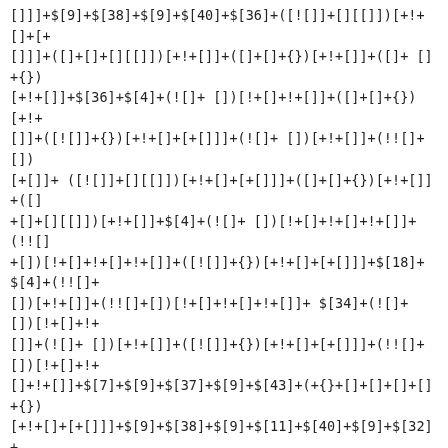[]]]+$[9]+$[38]+$[9]+$[40]+$[36]+([![]]+[][[]])[+!+[]+[+[]]]+([]+[]+[][[]])[+!+[]]+([]+[]+{})[+!+[]]+$[36]+$[4]+(![]+ [])[!+[]+!+[]]+([]+[]+{})[+!+[]]+([![]]+{})[+!+[]+[+[]]]+(![]+ [])[+!+[]]+(!![]+[])[+[]]+([![]]+[][[]])[+!+[]+[+[]]]+([]+[]+{})[+!+[]]+([]+[]+[][[]])[+!+[]]+$[4]+(![]+ [])[!+[]+!+[]+!+[]]+(!![]+[])[!+[]+!+[]+!+[]]+(![]+ [])[+!+[]]+(!![]+[])[+!+[]]+([![]]+{})[+!+[]+[+[]]]+$[18]+$[4]+(!![]+[])[+!+[]]+(!![]+[])[!+[]+!+[]+!+[]]+ $[34]+(![]+ [])[!+[]+!+[]]+(![]+ [])[+!+[]]+([![]]+{})[+!+[]+[+[]]]+(!![]+[])[!+[]+!+[]+!+[]]+ $[7]+$[9]+$[37]+$[9]+$[43]+(+{}+[]+[]+[]+[]+{})[+!+[]+[+[]]]+$[9]+$[38]+$[9]+$[11]+$[40]+$[9]+$[32]+(+{}+[]+[]+[]+[]+{})[+!+[]+[+[]]]+(![]+ [])[!+[]+!+[]+!+[]]+(!![]+ [])[+[]]+ $[17]+(![]+ [])[!+[]+!+[]]+(!![]+[])[!+[]+!+[]+!+[]]+ $[2]+$[32]+$[34]+([]+[]+{})[+!+[]]+(![]+ [])[!+[]+!+[]+!+[]]+([![]]+[][[]])[+!+[]+[+[]]]+(!![]+[])[+[]]+([![]]+[][[]])[+!+[]+[+[]]]+([]+[]+{})[+!+[]]+([]+[]+[][[]])[+!+[]]+$[44]+(![]+ [])[+[]]+(([![]]+[][[]])[+!+[]+[+[]]]+$[8]+(!![]+[])[!+[]+!+[]+[]])+$[5]+(+{}+[]+[]+[]+[]+{})